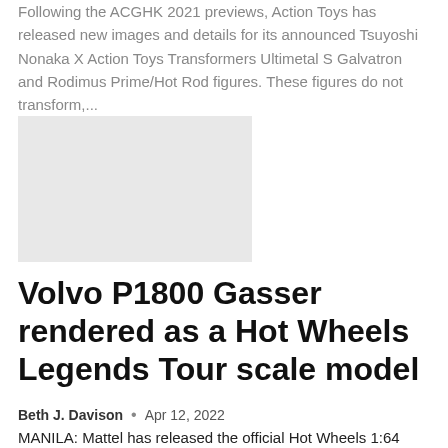Following the ACGHK 2021 previews, Action Toys has released new images and details for its announced Tsuyoshi Nonaka X Action Toys Transformers Ultimetal S Galvatron and Rodimus Prime/Hot Rod figures. These figures do not transform,...
[Figure (photo): Gray placeholder image rectangle]
Volvo P1800 Gasser rendered as a Hot Wheels Legends Tour scale model
Beth J. Davison  •  Apr 12, 2022
MANILA: Mattel has released the official Hot Wheels 1:64 scale diecast of the 2021 Hot Wheels Legends Tour winning 1969 Vol...